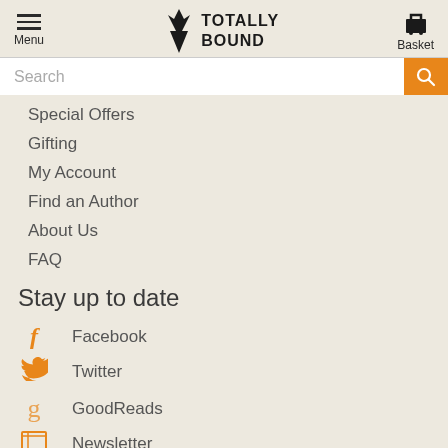Menu | TOTALLY BOUND | Basket
Search
Special Offers
Gifting
My Account
Find an Author
About Us
FAQ
Stay up to date
Facebook
Twitter
GoodReads
Newsletter